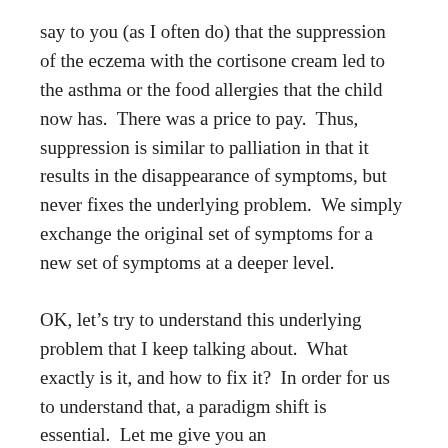say to you (as I often do) that the suppression of the eczema with the cortisone cream led to the asthma or the food allergies that the child now has.  There was a price to pay.  Thus, suppression is similar to palliation in that it results in the disappearance of symptoms, but never fixes the underlying problem.  We simply exchange the original set of symptoms for a new set of symptoms at a deeper level.
OK, let's try to understand this underlying problem that I keep talking about.  What exactly is it, and how to fix it?  In order for us to understand that, a paradigm shift is essential.  Let me give you an